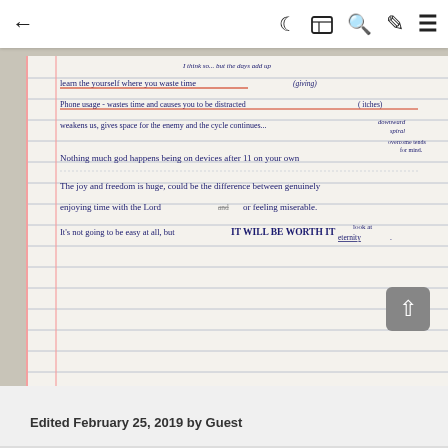← [navigation icons] ☾ 🗎 🔍 ✏ ≡
[Figure (photo): A photograph of handwritten notes on lined notebook paper. The text reads: 'learn the yourself where you waste time (giving) / Phone usage - wastes time and causes you to be distracted (itches) / weakens us, gives space for the enemy and the cycle continues... downward spiral / overcome tends / for mind / Nothing much god happens being on devices after 11 on your own / The joy and freedom is huge, could be the difference between genuinely / enjoying time with the Lord and or feeling miserable. / It's not going to be easy at all, but IT WILL BE WORTH IT look at (eternity)']
Edited February 25, 2019 by Guest